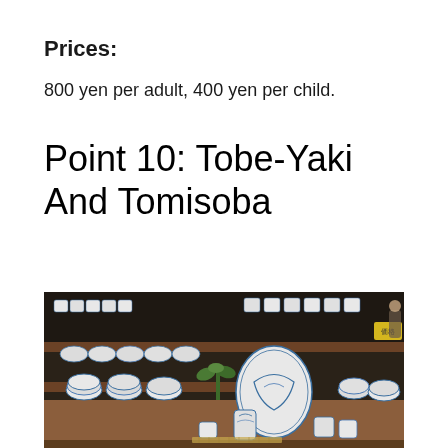Prices:
800 yen per adult, 400 yen per child.
Point 10: Tobe-Yaki And Tomisoba
[Figure (photo): Interior of a Japanese pottery shop displaying rows of blue and white Tobe-Yaki ceramic bowls, cups, and plates on shelves and tables]